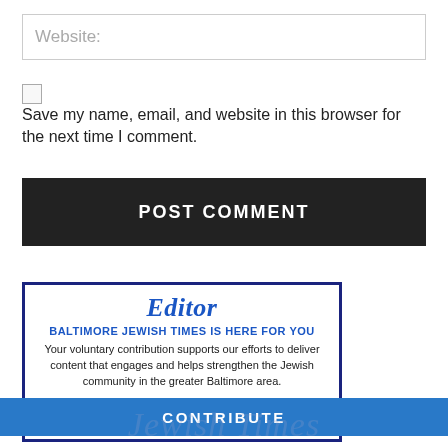Website:
Save my name, email, and website in this browser for the next time I comment.
POST COMMENT
[Figure (other): Baltimore Jewish Times Editor Opportunity advertisement box with blue border, heading 'BALTIMORE JEWISH TIMES IS HERE FOR YOU', body text about voluntary contributions, and a CONTRIBUTE button.]
CONTRIBUTE